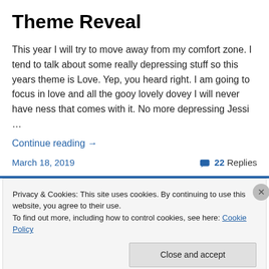Theme Reveal
This year I will try to move away from my comfort zone. I tend to talk about some really depressing stuff so this years theme is Love. Yep, you heard right. I am going to focus in love and all the gooy lovely dovey I will never have ness that comes with it. No more depressing Jessi …
Continue reading →
March 18, 2019   💬 22 Replies
Privacy & Cookies: This site uses cookies. By continuing to use this website, you agree to their use.
To find out more, including how to control cookies, see here: Cookie Policy
Close and accept